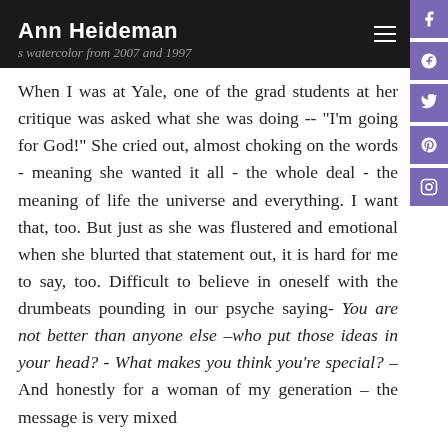Ann Heideman
When I was at Yale, one of the grad students at her critique was asked what she was doing -- "I'm going for God!" She cried out, almost choking on the words - meaning she wanted it all - the whole deal - the meaning of life the universe and everything. I want that, too. But just as she was flustered and emotional when she blurted that statement out, it is hard for me to say, too. Difficult to believe in oneself with the drumbeats pounding in our psyche saying- You are not better than anyone else –who put those ideas in your head? - What makes you think you're special? – And honestly for a woman of my generation – the message is very mixed